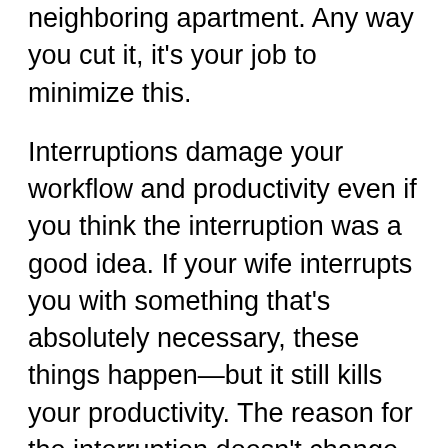neighboring apartment. Any way you cut it, it's your job to minimize this.
Interruptions damage your workflow and productivity even if you think the interruption was a good idea. If your wife interrupts you with something that's absolutely necessary, these things happen—but it still kills your productivity. The reason for the interruption doesn't change any of the data points I mentioned above, and like I said, it's your job to minimize distractions from all sources.
Here's another thing. When I talk about soft-nexting women and she calls and texts you a million times, you have to put your phone on silent and place it face down as you drive away. Then ignore it for about an hour. And if you think you